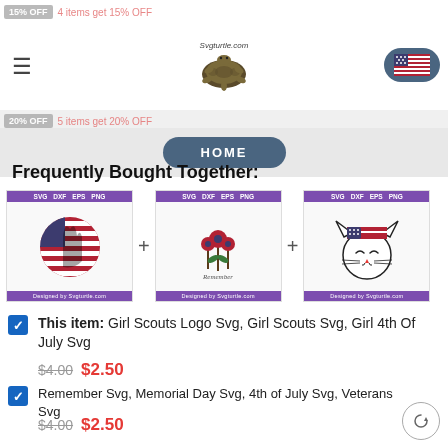15% OFF  4 items get 15% OFF
[Figure (logo): Svgturtle.com logo with turtle illustration]
[Figure (illustration): US flag circular button]
20% OFF  5 items get 20% OFF
HOME
Frequently Bought Together:
[Figure (illustration): Three product images: Girl Scouts Logo SVG with US flag, Remember Memorial SVG with flowers, and cat face with American flag bow SVG]
This item: Girl Scouts Logo Svg, Girl Scouts Svg, Girl 4th Of July Svg  $4.00  $2.50
Remember Svg, Memorial Day Svg, 4th of July Svg, Veterans Svg  $4.00  $2.50